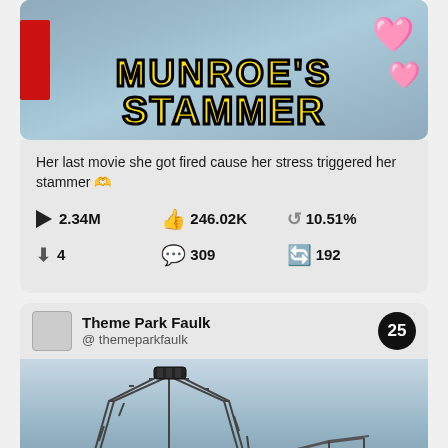[Figure (screenshot): TikTok/social media video thumbnail showing text MUNROE'S STAMMER in yellow with black outline on a denim background with pink hearts]
Her last movie she got fired cause her stress triggered her stammer 🫶
▶ 2.34M   👍 246.02K   🔁 10.51%   ⬇ 4   💬 309   🔄 192
[Figure (screenshot): Social media post header for Theme Park Faulk @themeparkfaulk with badge number 25, followed by roller coaster image with text ICON ROLLING at bottom in red]